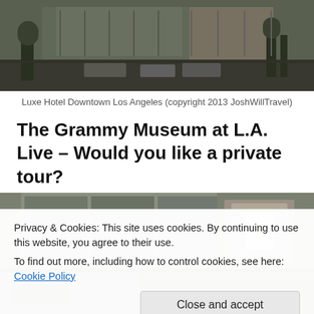[Figure (photo): Exterior photo of Luxe Hotel Downtown Los Angeles showing building facade with palm trees and parked cars]
Luxe Hotel Downtown Los Angeles (copyright 2013 JoshWillTravel)
The Grammy Museum at L.A. Live – Would you like a private tour?
[Figure (photo): Exterior photo of the Grammy Museum at L.A. Live showing building entrance and signage]
Privacy & Cookies: This site uses cookies. By continuing to use this website, you agree to their use.
To find out more, including how to control cookies, see here: Cookie Policy
Close and accept